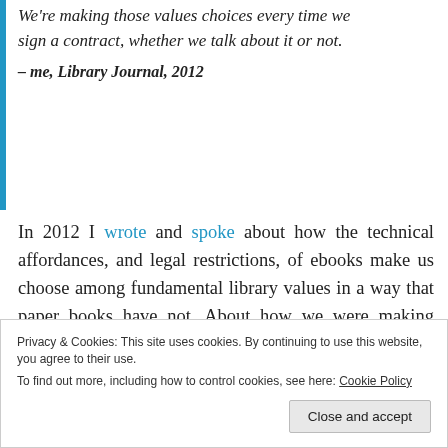We're making those values choices every time we sign a contract, whether we talk about it or not.
– me, Library Journal, 2012
In 2012 I wrote and spoke about how the technical affordances, and legal restrictions, of ebooks make us choose among fundamental library values in a way that paper books have not. About how we were making those choices about values whether we made them explicitly or not. About how we default
Privacy & Cookies: This site uses cookies. By continuing to use this website, you agree to their use.
To find out more, including how to control cookies, see here: Cookie Policy
Close and accept